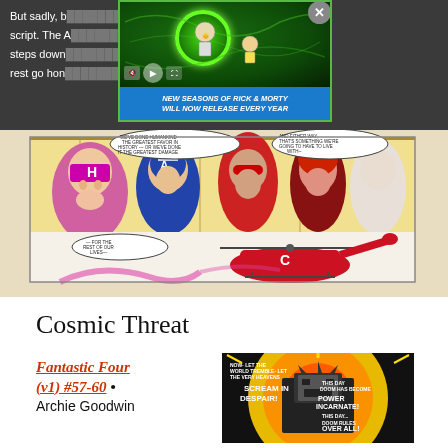But sadly, be... ...to the script. The A... ...events steps down... ...ap and the rest go hom... ...ve done?
[Figure (screenshot): Advertisement overlay for Rick and Morty with text: NEW SEASONS OF RICK & MORTY WILL NOW RELEASE EVERY YEAR, with play controls and close button]
[Figure (illustration): Comic book panel showing Marvel superheroes including Hawkeye, Captain America, and others in an aircraft. Speech bubbles read: WE'VE DONE HUMANKIND THE GREATEST FAVOR IN HISTORY - OR WE'VE DONE IT THE GREATEST DAMAGE, AND EITHER WAY, THAT'S SOMETHING WE'RE GOING TO HAVE TO LIVE WITH--, FOR THE REST OF OUR LIVES--. A red helicopter is shown in lower panel.]
Cosmic Threat
Fantastic Four (v1) #57-60 • Archie Goodwin
[Figure (illustration): Comic book cover panel with text: NOW- LET THE WORLD TREMBLE- LET THE VERY HEAVENS SCREAM IN DESPAIR! THIS DAY DOOM HAS BECOME POWER INCARNATE! THIS DAY... DOOM RULES OVER ALL!]